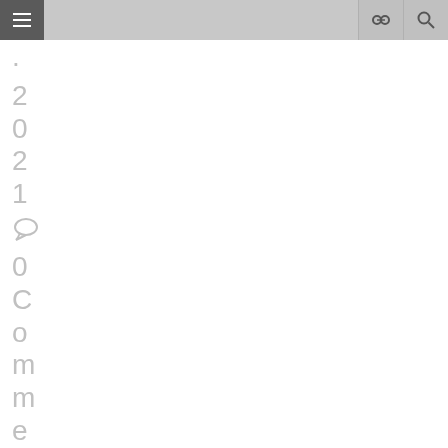≡ [link icon] [search icon]
. 2 0 2 1 [comment icon] 0 C o m m e n t . ..